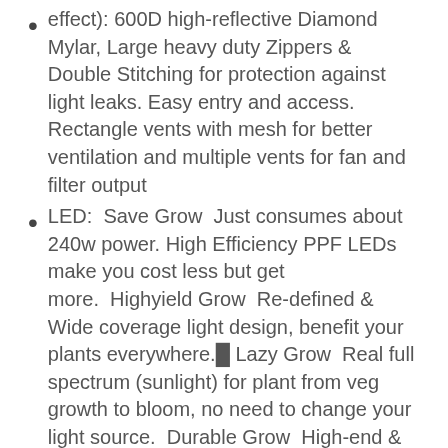effect): 600D high-reflective Diamond Mylar, Large heavy duty Zippers & Double Stitching for protection against light leaks. Easy entry and access. Rectangle vents with mesh for better ventilation and multiple vents for fan and filter output
LED:⁠Save Grow⁠Just consumes about 240w power. High Efficiency PPF LEDs make you cost less but get more.⁠Highyield Grow⁠Re-defined & Wide coverage light design, benefit your plants everywhere.█ Lazy Grow⁠Real full spectrum (sunlight) for plant from veg growth to bloom, no need to change your light source.⁠Durable Grow⁠High-end & high performance self-heating dissipation construction for long lifespan. Plug and play directly.⁠Quiet Grow⁠No Fan design and make grow room so quiet.
Ventilation Kit: Pre-filter included,Cleaner air to promote better health; Use Coal Based activated carbon environmentally friendly materials and Carbon Layer Thickness: 1.5 inches; Durable ceramic-coated, Composite